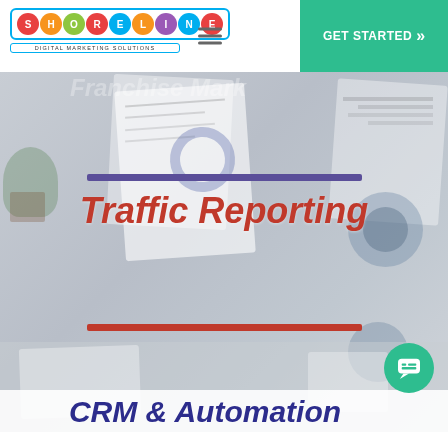SHORELINE DIGITAL MARKETING SOLUTIONS | GET STARTED
[Figure (screenshot): Website screenshot showing Shoreline Digital Marketing Solutions navbar with logo, hamburger menu, and green GET STARTED button]
Traffic Reporting
CRM & Automation